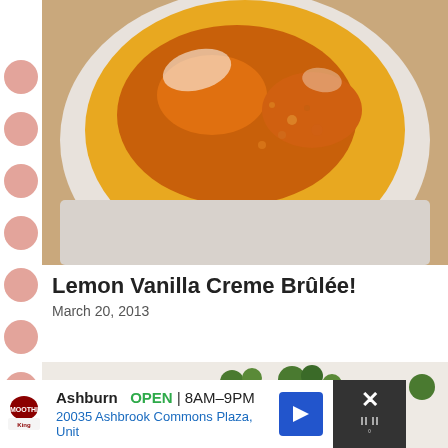[Figure (photo): Close-up photo of a lemon vanilla creme brulee in a white ramekin, showing caramelized sugar topping with golden and amber tones]
Lemon Vanilla Creme Brûlée!
March 20, 2013
[Figure (photo): Partial photo showing a dessert or food item with green garnishes on a light background]
Ashburn OPEN | 8AM–9PM 20035 Ashbrook Commons Plaza, Unit